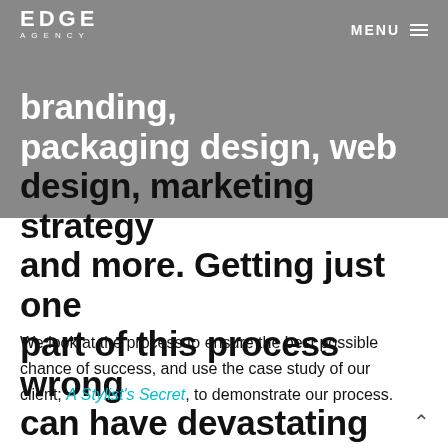EDGE AGENCY | MENU
is vital. These key components include branding, packaging design, web design, marketing strategy and more. Getting just one part of this process wrong can have devastating effects on your product launch.
We look at the process to ensure the best possible chance of success, and use the case study of our client; A Stylist's Secret, to demonstrate our process.